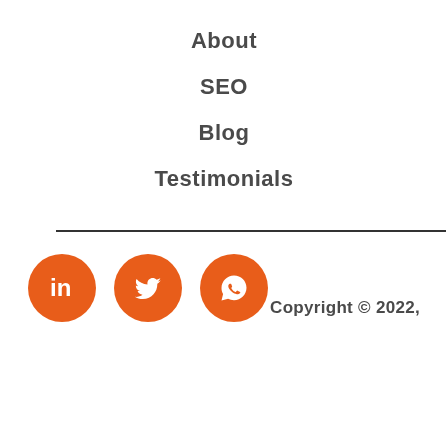About
SEO
Blog
Testimonials
[Figure (illustration): Three orange circular social media icon buttons: LinkedIn, Twitter, WhatsApp]
Copyright © 2022,